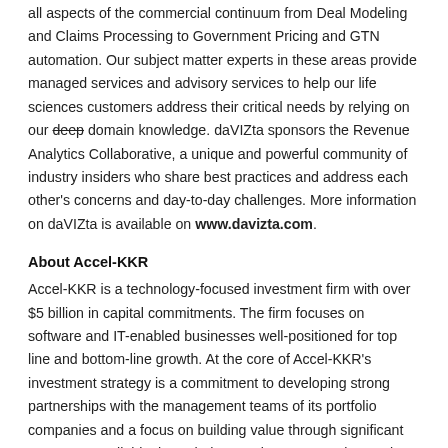all aspects of the commercial continuum from Deal Modeling and Claims Processing to Government Pricing and GTN automation. Our subject matter experts in these areas provide managed services and advisory services to help our life sciences customers address their critical needs by relying on our deep domain knowledge. daVIZta sponsors the Revenue Analytics Collaborative, a unique and powerful community of industry insiders who share best practices and address each other's concerns and day-to-day challenges. More information on daVIZta is available on www.davizta.com.
About Accel-KKR
Accel-KKR is a technology-focused investment firm with over $5 billion in capital commitments. The firm focuses on software and IT-enabled businesses well-positioned for top line and bottom-line growth. At the core of Accel-KKR’s investment strategy is a commitment to developing strong partnerships with the management teams of its portfolio companies and a focus on building value through significant resources available through the Accel-KKR network. Accel-KKR focuses on middle-market companies and provides a broad range of capital solutions including buyout capital, minority-growth